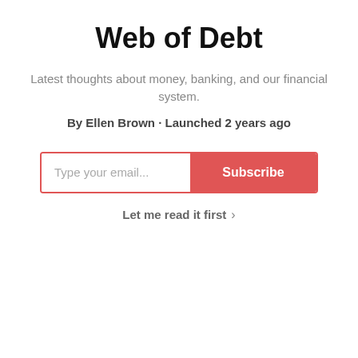Web of Debt
Latest thoughts about money, banking, and our financial system.
By Ellen Brown · Launched 2 years ago
Type your email... Subscribe
Let me read it first >